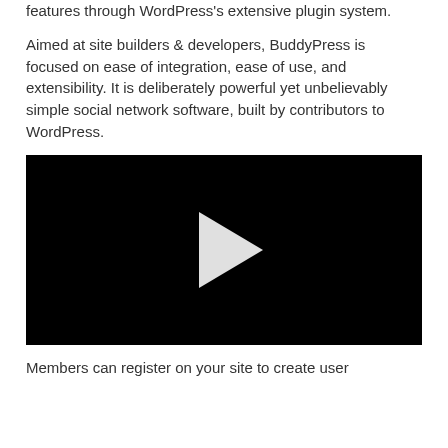features through WordPress's extensive plugin system.
Aimed at site builders & developers, BuddyPress is focused on ease of integration, ease of use, and extensibility. It is deliberately powerful yet unbelievably simple social network software, built by contributors to WordPress.
[Figure (other): Black video player with a white play button triangle in the center]
Members can register on your site to create user